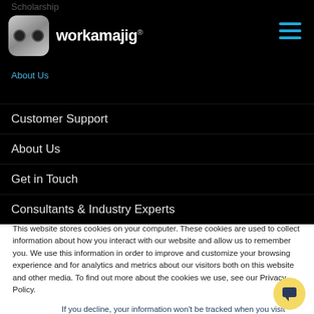Scholarship
[Figure (logo): Workamajig logo: robot face icon and wordmark on black background]
About Us
Customer Support
About Us
Get in Touch
Consultants & Industry Experts
This website stores cookies on your computer. These cookies are used to collect information about how you interact with our website and allow us to remember you. We use this information in order to improve and customize your browsing experience and for analytics and metrics about our visitors both on this website and other media. To find out more about the cookies we use, see our Privacy Policy.
If you decline, your information won’t be tracked when you visit this website. A single cookie will be used in your browser to remember your preference not to be tracked.